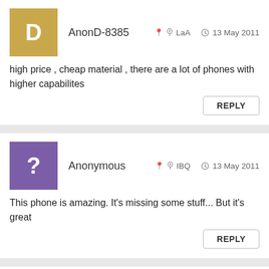AnonD-8385   LaA   13 May 2011
high price , cheap material , there are a lot of phones with higher capabilites
Anonymous   IBQ   13 May 2011
This phone is amazing. It's missing some stuff... But it's great
Anonymous   k2n   13 May 2011